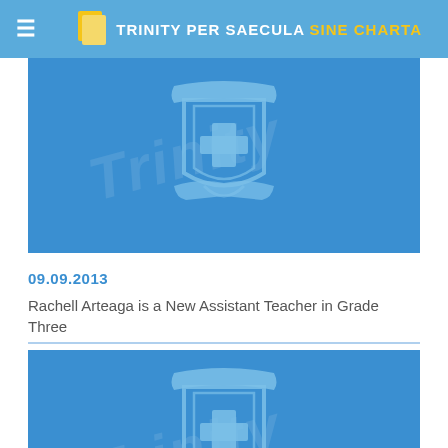TRINITY PER SAECULA SINE CHARTA
[Figure (illustration): Blue banner with school crest/coat of arms featuring a cross in a shield with decorative scrollwork, light blue on blue background]
09.09.2013
Rachell Arteaga is a New Assistant Teacher in Grade Three
[Figure (illustration): Blue banner with school crest/coat of arms featuring a cross in a shield with decorative scrollwork, light blue on blue background]